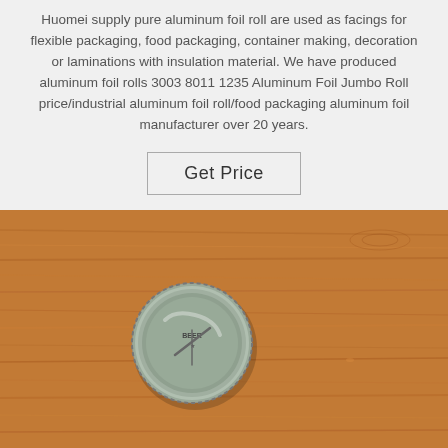Huomei supply pure aluminum foil roll are used as facings for flexible packaging, food packaging, container making, decoration or laminations with insulation material. We have produced aluminum foil rolls 3003 8011 1235 Aluminum Foil Jumbo Roll price/industrial aluminum foil roll/food packaging aluminum foil manufacturer over 20 years.
Get Price
[Figure (photo): A metal bottle cap lying face-up on a wooden table surface. The cap is silver/metallic with a crimped edge, and has some text/design visible on its top surface.]